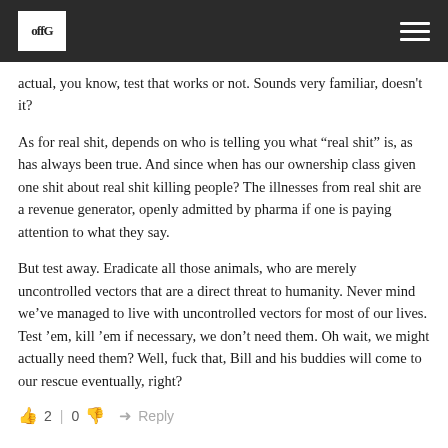offG [logo]
actual, you know, test that works or not. Sounds very familiar, doesn't it?
As for real shit, depends on who is telling you what “real shit” is, as has always been true. And since when has our ownership class given one shit about real shit killing people? The illnesses from real shit are a revenue generator, openly admitted by pharma if one is paying attention to what they say.
But test away. Eradicate all those animals, who are merely uncontrolled vectors that are a direct threat to humanity. Never mind we’ve managed to live with uncontrolled vectors for most of our lives. Test ’em, kill ’em if necessary, we don’t need them. Oh wait, we might actually need them? Well, fuck that, Bill and his buddies will come to our rescue eventually, right?
👍 2 | 0 👎 ➜ Reply